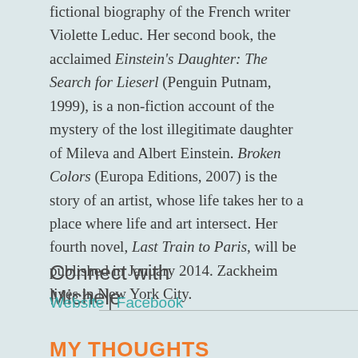fictional biography of the French writer Violette Leduc. Her second book, the acclaimed Einstein's Daughter: The Search for Lieserl (Penguin Putnam, 1999), is a non-fiction account of the mystery of the lost illegitimate daughter of Mileva and Albert Einstein. Broken Colors (Europa Editions, 2007) is the story of an artist, whose life takes her to a place where life and art intersect. Her fourth novel, Last Train to Paris, will be published in January 2014. Zackheim lives in New York City.
Connect with Michele
Website | Facebook
MY THOUGHTS
When it comes to armchair traveling, one of my most